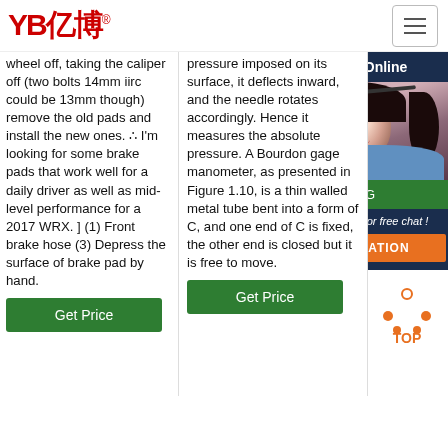[Figure (logo): YB亿博 company logo in red with registered trademark symbol]
[Figure (screenshot): Hamburger menu button (three horizontal lines) in top right corner]
wheel off, taking the caliper off (two bolts 14mm iirc could be 13mm though) remove the old pads and install the new ones. ∴ I'm looking for some brake pads that work well for a daily driver as well as mid-level performance for a 2017 WRX. ] (1) Front brake hose (3) Depress the surface of brake pad by hand.
pressure imposed on its surface, it deflects inward, and the needle rotates accordingly. Hence it measures the absolute pressure. A Bourdon gage manometer, as presented in Figure 1.10, is a thin walled metal tube bent into a form of C, and one end of C is fixed, the other end is closed but it is free to move.
hose, with braiding. Without brai Spr Boil Coc
[Figure (screenshot): 24/7 Online chat widget with photo of woman wearing headset, Click here for free chat text, and QUOTATION orange button]
[Figure (other): TOP icon with orange dots arranged in triangle pattern and TOP text in orange]
[Figure (other): Get Price green button in column 2]
[Figure (other): Get Price green button partially visible at bottom of column 1]